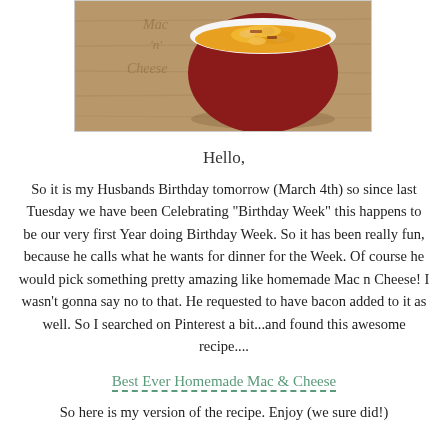[Figure (photo): A bowl of mac and cheese on a wooden cutting board with 'Mac n Cheese' text carved into the board]
Hello,
So it is my Husbands Birthday tomorrow (March 4th) so since last Tuesday we have been Celebrating "Birthday Week" this happens to be our very first Year doing Birthday Week. So it has been really fun, because he calls what he wants for dinner for the Week. Of course he would pick something pretty amazing like homemade Mac n Cheese! I wasn't gonna say no to that. He requested to have bacon added to it as well. So I searched on Pinterest a bit...and found this awesome recipe....
Best Ever Homemade Mac & Cheese
So here is my version of the recipe. Enjoy (we sure did!)